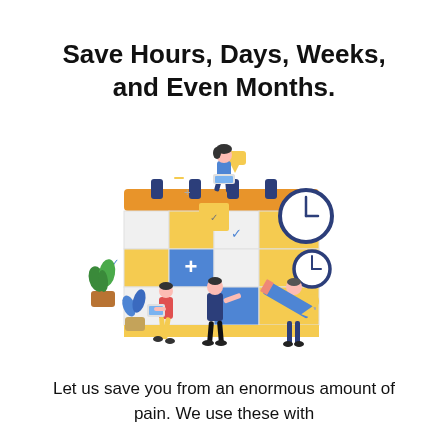Save Hours, Days, Weeks, and Even Months.
[Figure (illustration): Colorful flat illustration showing people interacting with a large calendar/planner. A woman in blue sits on top of the calendar working on a laptop, a man in blue stands in front pointing, a woman in yellow with a tablet stands to the left, and a man in yellow holds a large pencil on the right. Two clock icons appear to the upper right. Yellow, blue, and white calendar grid with an orange top bar. Green plants decorate the left side.]
Let us save you from an enormous amount of pain. We use these with